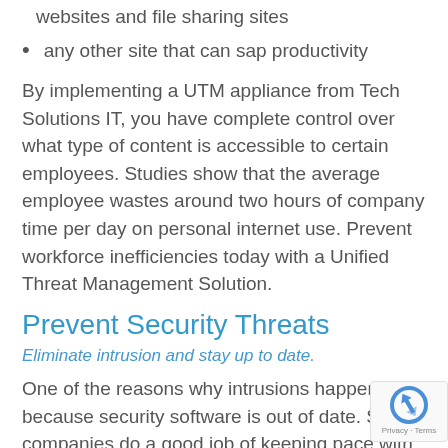websites and file sharing sites
any other site that can sap productivity
By implementing a UTM appliance from Tech Solutions IT, you have complete control over what type of content is accessible to certain employees. Studies show that the average employee wastes around two hours of company time per day on personal internet use. Prevent workforce inefficiencies today with a Unified Threat Management Solution.
Prevent Security Threats
Eliminate intrusion and stay up to date.
One of the reasons why intrusions happen is because security software is out of date. Secu companies do a good job of keeping pace with